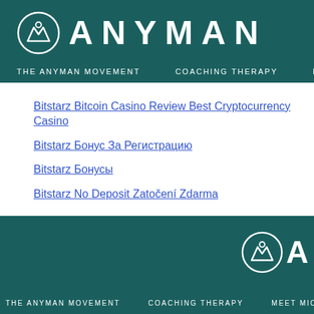[Figure (logo): Anyman logo with circle icon and brand name ANYMAN in white on teal background]
THE ANYMAN MOVEMENT   COACHING THERAPY   MEET MICH
Bitstarz Bitcoin Casino Review Best Cryptocurrency Casino
Bitstarz Бонус За Регистрацию
Bitstarz Бонусы
Bitstarz No Deposit Zatočení Zdarma
[Figure (logo): Anyman footer logo with circle icon and partial brand name A in white on teal background]
THE ANYMAN MOVEMENT   COACHING THERAPY   MEET MICH
[Figure (logo): LinkedIn icon in white on teal background]